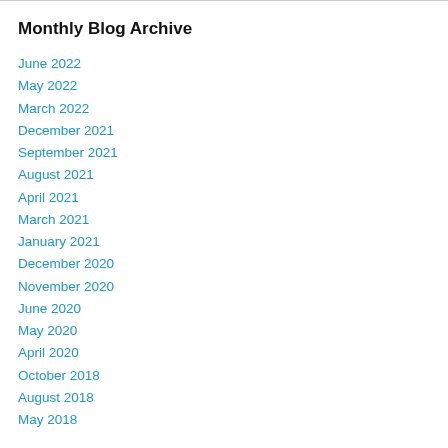Monthly Blog Archive
June 2022
May 2022
March 2022
December 2021
September 2021
August 2021
April 2021
March 2021
January 2021
December 2020
November 2020
June 2020
May 2020
April 2020
October 2018
August 2018
May 2018